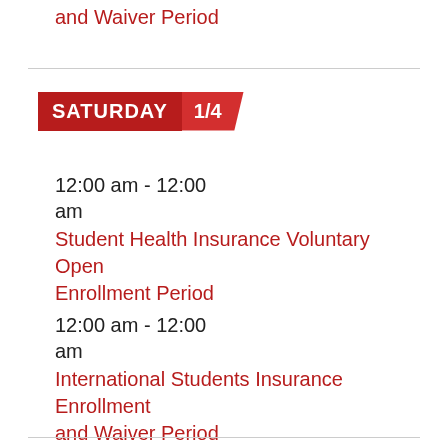and Waiver Period
SATURDAY 1/4
12:00 am - 12:00 am
Student Health Insurance Voluntary Open Enrollment Period
12:00 am - 12:00 am
International Students Insurance Enrollment and Waiver Period